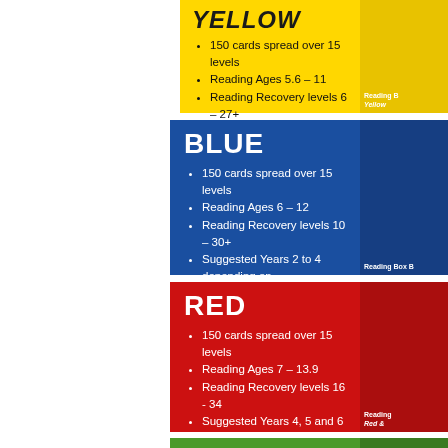[Figure (infographic): Yellow reading box section showing title YELLOW with bullet points listing features: 150 cards spread over 15 levels, Reading Ages 5.6 – 11, Reading Recovery levels 6 – 27+, Suggested Years 1 and 2 depending on schools' individual needs. Right side shows product image.]
[Figure (infographic): Blue reading box section showing title BLUE with bullet points: 150 cards spread over 15 levels, Reading Ages 6 – 12, Reading Recovery levels 10 – 30+, Suggested Years 2 to 4 depending on schools' individual needs. Right side shows product image with label 'Reading Box B'.]
[Figure (infographic): Red reading box section showing title RED with bullet points: 150 cards spread over 15 levels, Reading Ages 7 – 13.9, Reading Recovery levels 16 - 34, Suggested Years 4, 5 and 6 depending on schools' individual needs. Right side shows product image with label 'Reading Red'.]
[Figure (infographic): Green reading box section showing title GREEN with partial bullet: 150 cards spread over 12 levels. Right side partially visible.]